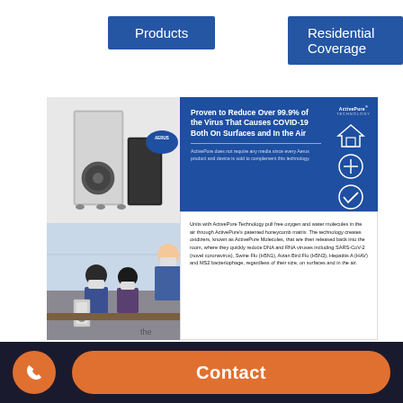Products
Residential Coverage
[Figure (photo): Air purifier units stacked, with blue oval badge labeled AERUS]
[Figure (photo): People wearing masks in classroom setting with air purifier]
Proven to Reduce Over 99.9% of the Virus That Causes COVID-19 Both On Surfaces and In the Air
ActivePure does not require any media since every Aerus product and device is sold to complement this technology.
Units with ActivePure Technology pull free oxygen and water molecules in the air through ActivePure's patented honeycomb matrix. The technology creates oxidizers, known as ActivePure Molecules, that are then released back into the room, where they quickly reduce DNA and RNA viruses including SARS-CoV-2 (novel coronavirus), Swine Flu (H5N1), Avian Bird Flu (H5N3), Hepatitis A (HAV) and MS2 bacteriophage, regardless of their size, on surfaces and in the air.
Contact